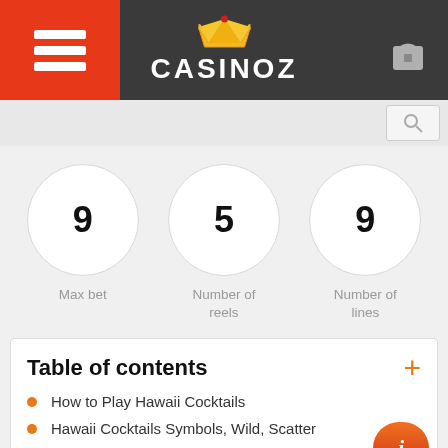[Figure (logo): Casinoz logo with crown icon on dark header bar with orange hamburger menu on left and lock icon on right]
[Figure (infographic): Three circular stat badges: Max bet 9, Number of reels 5, Number of lines 9]
Table of contents
How to Play Hawaii Cocktails
Hawaii Cocktails Symbols, Wild, Scatter
Hawaii Cocktails Bonus games